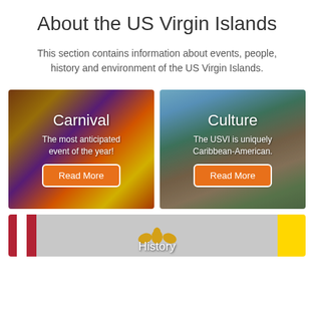About the US Virgin Islands
This section contains information about events, people, history and environment of the US Virgin Islands.
[Figure (photo): Carnival photo showing colorful costumed crowd with overlaid text 'Carnival' and 'The most anticipated event of the year!' and a Read More button]
[Figure (photo): Culture photo showing outdoor Caribbean scene with colorful tent/pole structure with overlaid text 'Culture' and 'The USVI is uniquely Caribbean-American.' and a Read More button]
[Figure (photo): History card showing US Virgin Islands flag elements with eagle emblem and text 'History' partially visible]